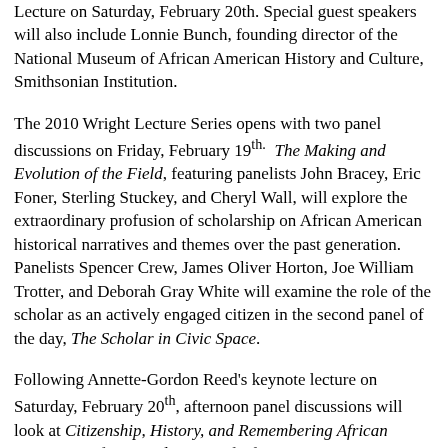Lecture on Saturday, February 20th. Special guest speakers will also include Lonnie Bunch, founding director of the National Museum of African American History and Culture, Smithsonian Institution.
The 2010 Wright Lecture Series opens with two panel discussions on Friday, February 19th. The Making and Evolution of the Field, featuring panelists John Bracey, Eric Foner, Sterling Stuckey, and Cheryl Wall, will explore the extraordinary profusion of scholarship on African American historical narratives and themes over the past generation. Panelists Spencer Crew, James Oliver Horton, Joe William Trotter, and Deborah Gray White will examine the role of the scholar as an actively engaged citizen in the second panel of the day, The Scholar in Civic Space.
Following Annette-Gordon Reed's keynote lecture on Saturday, February 20th, afternoon panel discussions will look at Citizenship, History, and Remembering African American Life, an exploration of African American...